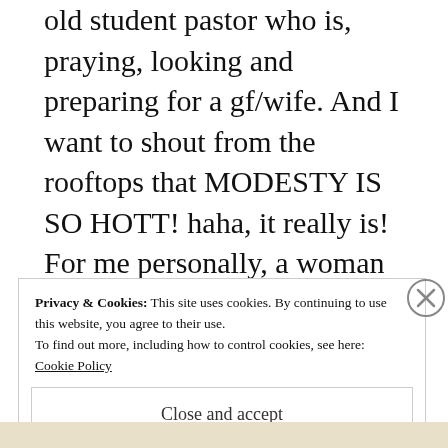old student pastor who is, praying, looking and preparing for a gf/wife. And I want to shout from the rooftops that MODESTY IS SO HOTT! haha, it really is! For me personally, a woman who can still dress fashionably all the while being modest is my kind of gal. There is something to be said about a woman who can work it for Jesus inside the
Privacy & Cookies: This site uses cookies. By continuing to use this website, you agree to their use.
To find out more, including how to control cookies, see here: Cookie Policy
Close and accept